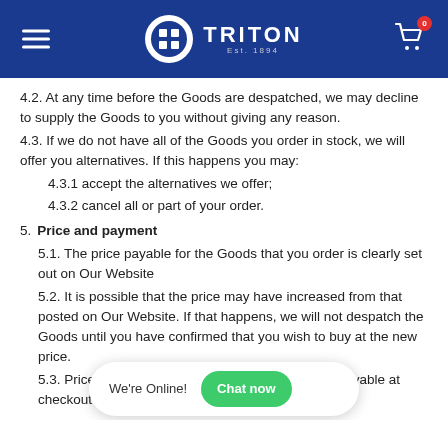TRITON Est. 1894 — navigation header with hamburger menu and cart
4.2. At any time before the Goods are despatched, we may decline to supply the Goods to you without giving any reason.
4.3. If we do not have all of the Goods you order in stock, we will offer you alternatives. If this happens you may:
4.3.1 accept the alternatives we offer;
4.3.2 cancel all or part of your order.
5. Price and payment
5.1. The price payable for the Goods that you order is clearly set out on Our Website
5.2. It is possible that the price may have increased from that posted on Our Website. If that happens, we will not despatch the Goods until you have confirmed that you wish to buy at the new price.
5.3. Prices shown ("GST"). GST is calculated and payable at checkout